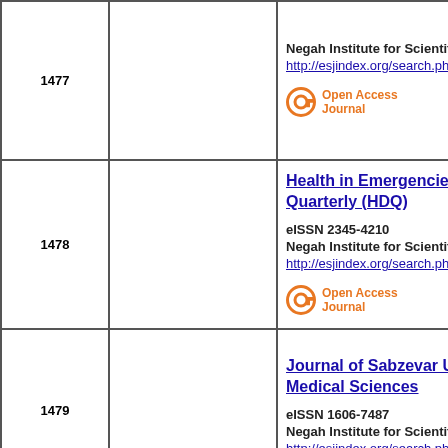| # |  | Journal Info |
| --- | --- | --- |
| 1477 |  | Negah Institute for Scientific
http://esjindex.org/search.ph
[Open Access Journal] |
| 1478 |  | Health in Emergencies & Quarterly (HDQ)
eISSN 2345-4210
Negah Institute for Scientific
http://esjindex.org/search.ph
[Open Access Journal] |
| 1479 |  | Journal of Sabzevar University of Medical Sciences
eISSN 1606-7487
Negah Institute for Scientific
http://esjindex.org/search.ph |